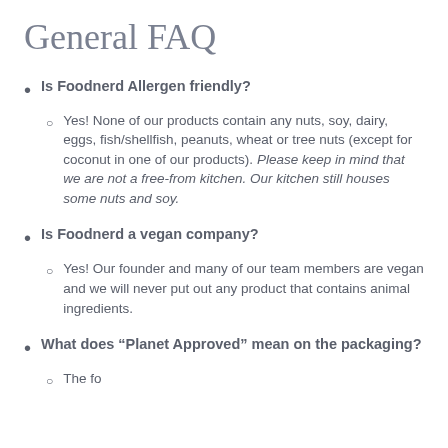General FAQ
Is Foodnerd Allergen friendly?
Yes! None of our products contain any nuts, soy, dairy, eggs, fish/shellfish, peanuts, wheat or tree nuts (except for coconut in one of our products). Please keep in mind that we are not a free-from kitchen. Our kitchen still houses some nuts and soy.
Is Foodnerd a vegan company?
Yes! Our founder and many of our team members are vegan and we will never put out any product that contains animal ingredients.
What does “Planet Approved” mean on the packaging?
The information at the top could also be logged to a...